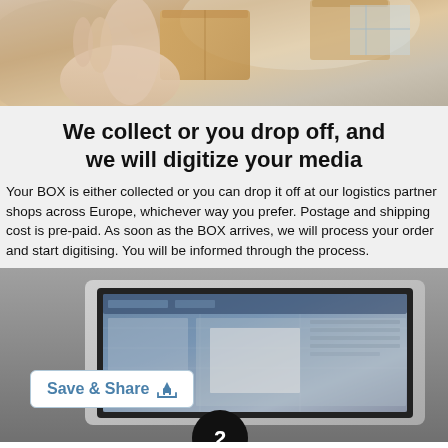[Figure (photo): Person handling cardboard boxes, logistics/shipping scene]
We collect or you drop off, and we will digitize your media
Your BOX is either collected or you can drop it off at our logistics partner shops across Europe, whichever way you prefer. Postage and shipping cost is pre-paid. As soon as the BOX arrives, we will process your order and start digitising. You will be informed through the process.
[Figure (screenshot): Laptop screen showing digital editing software with a 'Save & Share' button overlay and a numbered circle (2)]